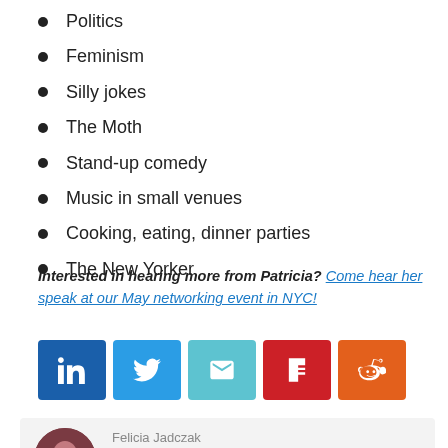Politics
Feminism
Silly jokes
The Moth
Stand-up comedy
Music in small venues
Cooking, eating, dinner parties
The New Yorker
Interested in hearing more from Patricia? Come hear her speak at our May networking event in NYC!
[Figure (other): Social share buttons: LinkedIn (blue), Twitter (blue), Email (light blue), Flipboard (red), Reddit (orange-red)]
Felicia Jadczak
Felicia is a Co-Founder of She